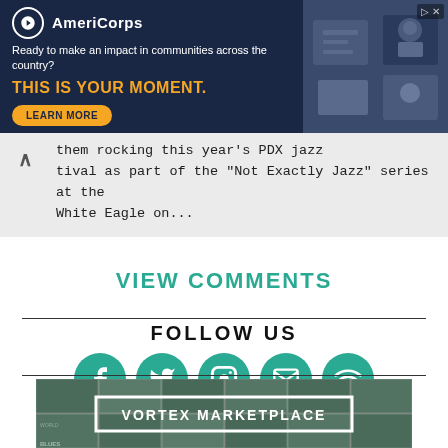[Figure (other): AmeriCorps advertisement banner with logo, tagline 'Ready to make an impact in communities across the country?', headline 'THIS IS YOUR MOMENT.', LEARN MORE button, and photo of people at computer on dark blue background]
them rocking this year's PDX jazz festival as part of the "Not Exactly Jazz" series at the White Eagle on...
VIEW COMMENTS
FOLLOW US
[Figure (infographic): Five teal circular social media icons: Facebook, Twitter, Instagram, Email/envelope, and a spiral/RSS icon]
[Figure (other): Vortex Marketplace banner: grayscale collage of album covers in background with white-bordered text box reading 'VORTEX MARKETPLACE']